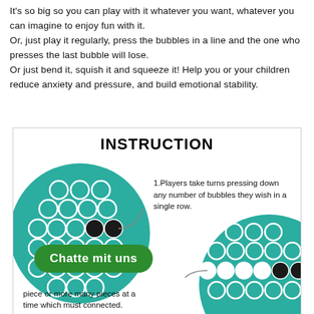It's so big so you can play with it whatever you want, whatever you can imagine to enjoy fun with it.
Or, just play it regularly, press the bubbles in a line and the one who presses the last bubble will lose.
Or just bend it, squish it and squeeze it! Help you or your children reduce anxiety and pressure, and build emotional stability.
[Figure (infographic): Instruction diagram for a bubble pop game. Shows a teal circle with white bubble circles and two pressed black bubbles in a row, alongside text explaining rules. A second partial teal circle at bottom right shows more pressed white and black bubbles. A green chat button overlaps the bottom left.]
1.Players take turns pressing down any number of bubbles they wish in a single row.
piece or more many pieces at a time which must connected.